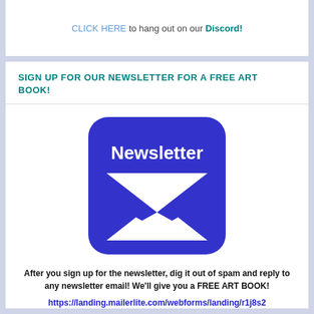CLICK HERE to hang out on our Discord!
SIGN UP FOR OUR NEWSLETTER FOR A FREE ART BOOK!
[Figure (illustration): Blue rounded square icon with white envelope/newsletter graphic and the word 'Newsletter' in bold white text at the top]
After you sign up for the newsletter, dig it out of spam and reply to any newsletter email! We'll give you a FREE ART BOOK!
https://landing.mailerlite.com/webforms/landing/r1j8s2